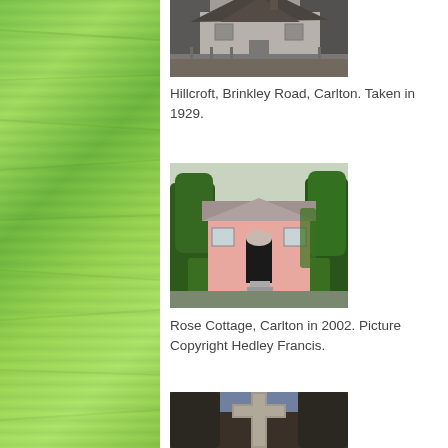[Figure (photo): Black and white photograph of Hillcroft, a cottage on Brinkley Road, Carlton, taken in 1929. Shows a thatched/tiled roof building with trees and fence.]
Hillcroft, Brinkley Road, Carlton. Taken in 1929.
[Figure (photo): Colour photograph of Rose Cottage, Carlton in 2002. A pink cottage surrounded by green hedges and trees.]
Rose Cottage, Carlton in 2002. Picture Copyright Hedley Francis.
[Figure (photo): Photograph of a stone cross among trees, partially visible at bottom of page.]